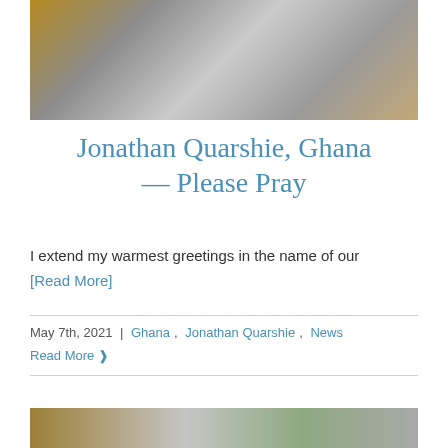[Figure (photo): Blurry photograph showing people outdoors, partially cropped at top]
Jonathan Quarshie, Ghana — Please Pray
I extend my warmest greetings in the name of our
[Read More]
May 7th, 2021 | Ghana, Jonathan Quarshie, News
Read More ❱
[Figure (photo): Bottom portion of another photograph, partially visible]